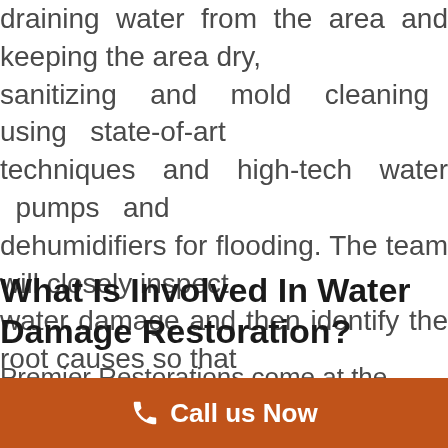draining water from the area and keeping the area dry, sanitizing and mold cleaning using state-of-art techniques and high-tech water pumps and dehumidifiers for flooding. The team will closely inspect water damage and then identify the root causes so that problem is properly addressed.
What Is Involved In Water Damage Restoration?
Premier Restorations come at the forefront of innovation and technological advancement for water damage restorations in New York. The team takes pride in
Call us Now